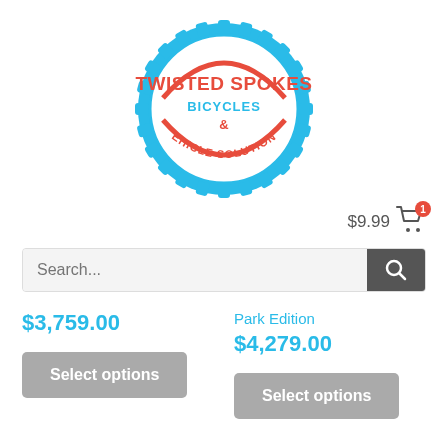[Figure (logo): Twisted Spokes Bicycles & Vehicle Solutions circular badge logo with blue gear/sprocket border, red text, and blue text]
$9.99
Search...
$3,759.00
Park Edition
$4,279.00
Select options
Select options